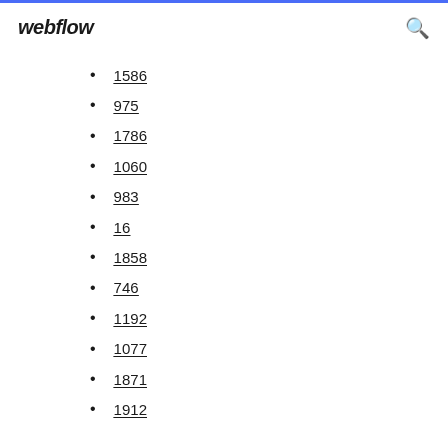webflow
1586
975
1786
1060
983
16
1858
746
1192
1077
1871
1912